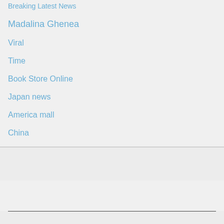Breaking Latest News
Madalina Ghenea
Viral
Time
Book Store Online
Japan news
America mall
China